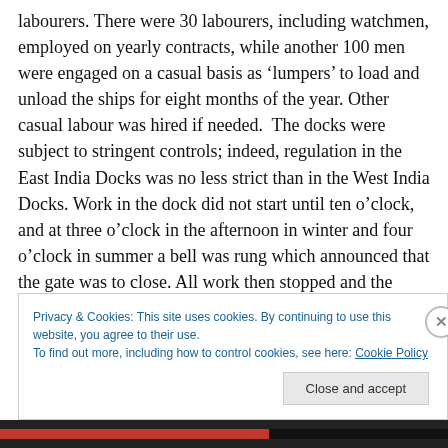labourers. There were 30 labourers, including watchmen, employed on yearly contracts, while another 100 men were engaged on a casual basis as ‘lumpers’ to load and unload the ships for eight months of the year. Other casual labour was hired if needed.  The docks were subject to stringent controls; indeed, regulation in the East India Docks was no less strict than in the West India Docks. Work in the dock did not start until ten o’clock, and at three o’clock in the afternoon in winter and four o’clock in summer a bell was rung which announced that the gate was to close. All work then stopped and the labourers,
Privacy & Cookies: This site uses cookies. By continuing to use this website, you agree to their use.
To find out more, including how to control cookies, see here: Cookie Policy
Close and accept